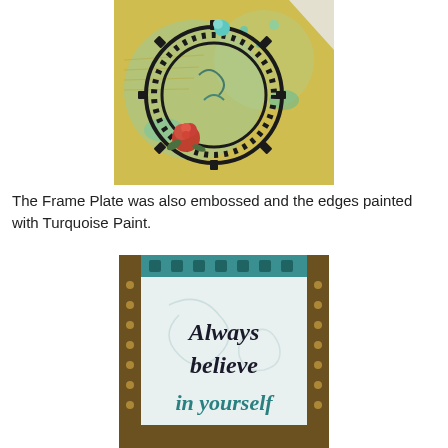[Figure (photo): Close-up photo of a mixed media art piece featuring a black gear/frame with roses, turquoise paint accents, and decorative embossing on a yellow/green background]
The Frame Plate was also embossed and the edges painted with Turquoise Paint.
[Figure (photo): Photo of a decorative picture frame with turquoise and gold embossed border containing text that reads 'Always believe in yourself']